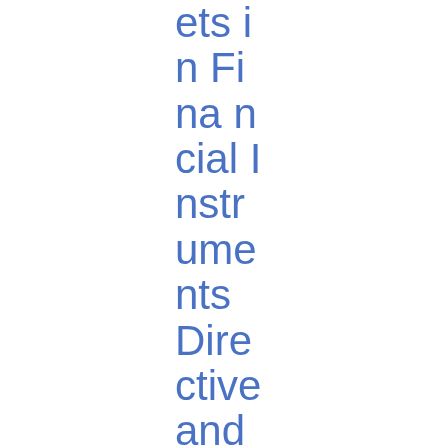ets in Financial Instruments Directive and Regulation (Deadline for submission: 20/09/2013)